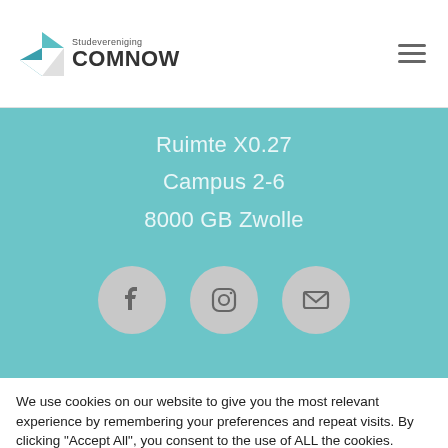[Figure (logo): Studevereniging COMNOW logo with X icon and hamburger menu]
Ruimte X0.27
Campus 2-6
8000 GB Zwolle
[Figure (infographic): Three social media icons (Facebook, Instagram, Email) in grey circles on teal background]
We use cookies on our website to give you the most relevant experience by remembering your preferences and repeat visits. By clicking "Accept All", you consent to the use of ALL the cookies. However, you may visit "Cookie Settings" to provide a controlled consent.
Cookie Settings
Accept All